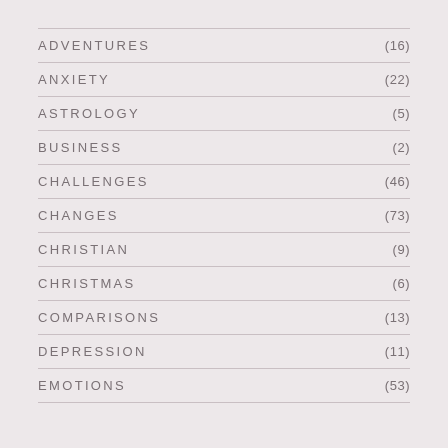ADVENTURES (16)
ANXIETY (22)
ASTROLOGY (5)
BUSINESS (2)
CHALLENGES (46)
CHANGES (73)
CHRISTIAN (9)
CHRISTMAS (6)
COMPARISONS (13)
DEPRESSION (11)
EMOTIONS (53)